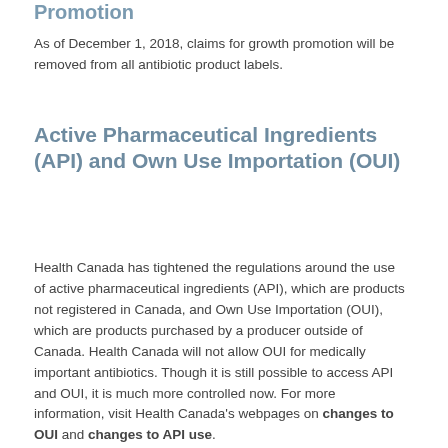Promotion
As of December 1, 2018, claims for growth promotion will be removed from all antibiotic product labels.
Active Pharmaceutical Ingredients (API) and Own Use Importation (OUI)
Health Canada has tightened the regulations around the use of active pharmaceutical ingredients (API), which are products not registered in Canada, and Own Use Importation (OUI), which are products purchased by a producer outside of Canada. Health Canada will not allow OUI for medically important antibiotics. Though it is still possible to access API and OUI, it is much more controlled now. For more information, visit Health Canada's webpages on changes to OUI and changes to API use.